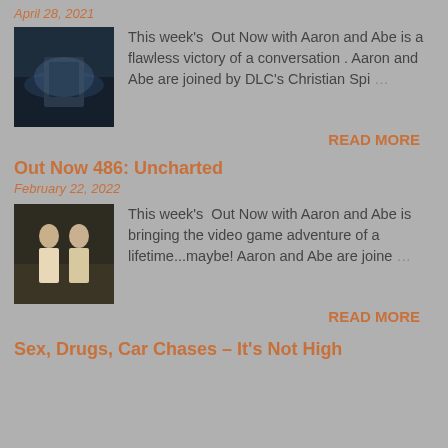April 28, 2021
[Figure (photo): Dark themed movie thumbnail image]
This week's  Out Now with Aaron and Abe is a flawless victory of a conversation . Aaron and Abe are joined by DLC's Christian Spi …
READ MORE
Out Now 486: Uncharted
February 22, 2022
[Figure (photo): Two young men in adventure movie thumbnail image]
This week's  Out Now with Aaron and Abe is bringing the video game adventure of a lifetime...maybe! Aaron and Abe are joine …
READ MORE
Sex, Drugs, Car Chases – It's Not High